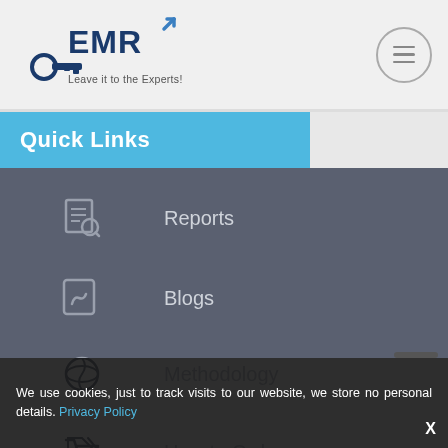[Figure (logo): EMR (Expert Market Research) logo with tagline 'Leave it to the Experts!']
[Figure (other): Circular hamburger menu button with three horizontal lines]
Quick Links
Reports
Blogs
Methodology
How to Order
Delivery Method
Events
We use cookies, just to track visits to our website, we store no personal details. Privacy Policy